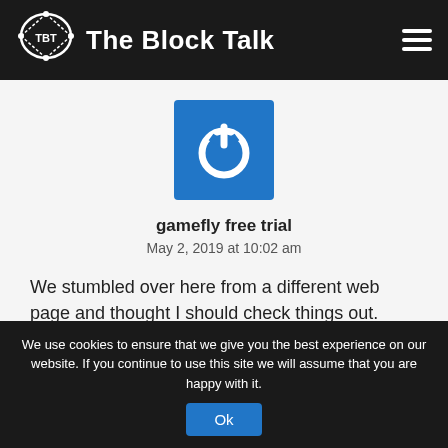The Block Talk
[Figure (logo): TBT circular logo with speech bubble and nodes]
gamefly free trial
May 2, 2019 at 10:02 am
We stumbled over here from a different web page and thought I should check things out.
I like what I see so i am just following you.
We use cookies to ensure that we give you the best experience on our website. If you continue to use this site we will assume that you are happy with it.